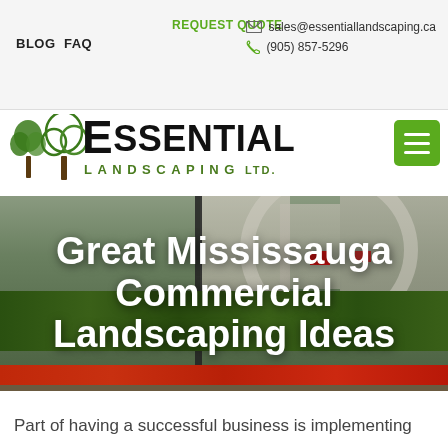BLOG  FAQ  REQUEST QUOTE  sales@essentiallandscaping.ca  (905) 857-5296
[Figure (logo): Essential Landscaping Ltd. logo with tree graphic, company name in large bold text and 'LANDSCAPING LTD.' subtitle in green spaced letters]
[Figure (screenshot): Green hamburger menu button (three horizontal white lines on green square background) in top right of content area]
[Figure (photo): Hero photo of Mississauga commercial district with buildings, arch structure, red flowers, and green shrubs. White bold text overlay reads 'Great Mississauga Commercial Landscaping Ideas']
Great Mississauga Commercial Landscaping Ideas
Part of having a successful business is implementing